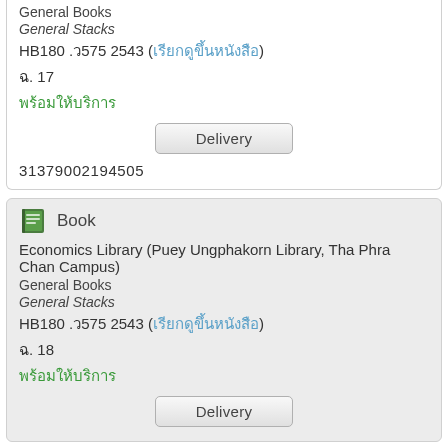General Books
General Stacks
HB180 .ว575 2543 (เรียกดูขึ้นหนังสือ)
ฉ. 17
พร้อมให้บริการ
Delivery
31379002194505
Book
Economics Library (Puey Ungphakorn Library, Tha Phra Chan Campus)
General Books
General Stacks
HB180 .ว575 2543 (เรียกดูขึ้นหนังสือ)
ฉ. 18
พร้อมให้บริการ
Delivery